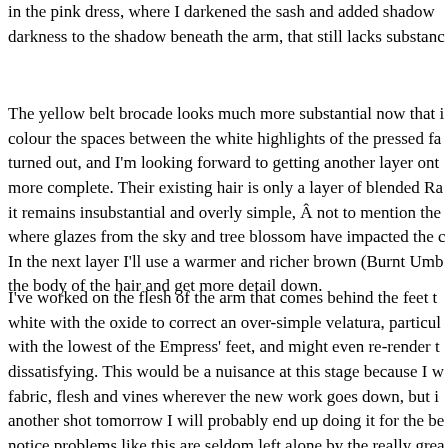in the pink dress, where I darkened the sash and added shadow darkness to the shadow beneath the arm, that still lacks substance.
The yellow belt brocade looks much more substantial now that I colour the spaces between the white highlights of the pressed fabric turned out, and I'm looking forward to getting another layer onto make more complete. Their existing hair is only a layer of blended Ra it remains insubstantial and overly simple, Â not to mention the where glazes from the sky and tree blossom have impacted the colour. In the next layer I'll use a warmer and richer brown (Burnt Umb the body of the hair and get more detail down.
I've worked on the flesh of the arm that comes behind the feet white with the oxide to correct an over-simple velatura, particularly with the lowest of the Empress' feet, and might even re-render dissatisfying. This would be a nuisance at this stage because I fabric, flesh and vines wherever the new work goes down, but another shot tomorrow I will probably end up doing it for the benefit notice problems like this are seldom left alone by the really great